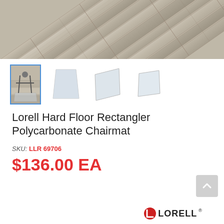[Figure (photo): Close-up photo of weathered wood plank flooring shown at a diagonal angle, gray/tan tones]
[Figure (photo): Row of four product thumbnail images: chair mat in use on wood floor, front view of clear mat, angled view of clear mat, angled view of smaller clear mat]
Lorell Hard Floor Rectangler Polycarbonate Chairmat
SKU: LLR 69706
$136.00 EA
[Figure (logo): Lorell brand logo with stylized L icon and LORELL text in bold black]